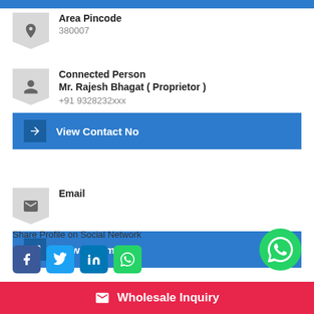Area Pincode
380007
Connected Person
Mr. Rajesh Bhagat ( Proprietor )
+91 9328232xxx
View Contact No
Email
View on Email
Share Profile on Social Network
Wholesale Inquiry